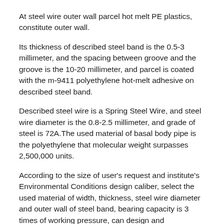At steel wire outer wall parcel hot melt PE plastics, constitute outer wall.
Its thickness of described steel band is the 0.5-3 millimeter, and the spacing between groove and the groove is the 10-20 millimeter, and parcel is coated with the m-9411 polyethylene hot-melt adhesive on described steel band.
Described steel wire is a Spring Steel Wire, and steel wire diameter is the 0.8-2.5 millimeter, and grade of steel is 72A.The used material of basal body pipe is the polyethylene that molecular weight surpasses 2,500,000 units.
According to the size of user's request and institute's Environmental Conditions design caliber, select the used material of width, thickness, steel wire diameter and outer wall of steel band, bearing capacity is 3 times of working pressure, can design and manufacture its bearing capacity is the various model tubing of 1.5MPa-16MPa.
As manufacturing and designing the tubing that bearing capacity is 5MPa-800 millimeter of caliber of 0...